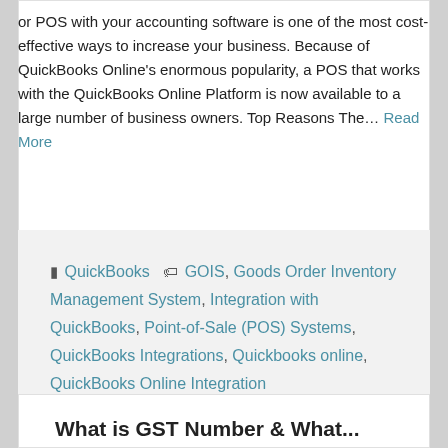or POS with your accounting software is one of the most cost-effective ways to increase your business. Because of QuickBooks Online's enormous popularity, a POS that works with the QuickBooks Online Platform is now available to a large number of business owners. Top Reasons The… Read More
QuickBooks  GOIS, Goods Order Inventory Management System, Integration with QuickBooks, Point-of-Sale (POS) Systems, QuickBooks Integrations, Quickbooks online, QuickBooks Online Integration
What is GST Number & What...